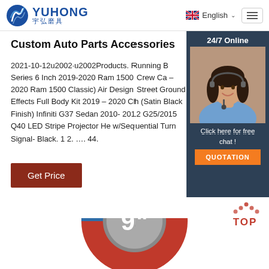YUHONG 宇弘磨具 | English | Menu
Custom Auto Parts Accessories
2021-10-12u2002·u2002Products. Running B Series 6 Inch 2019-2020 Ram 1500 Crew Ca – 2020 Ram 1500 Classic) Air Design Street Ground Effects Full Body Kit 2019 – 2020 Ch (Satin Black Finish) Infiniti G37 Sedan 2010- 2012 G25/2015 Q40 LED Stripe Projector He w/Sequential Turn Signal- Black. 1 2. …. 44.
[Figure (photo): 24/7 Online chat widget with female customer service agent wearing headset, with 'Click here for free chat!' text and orange QUOTATION button]
[Figure (other): Get Price button - dark red/brown button]
[Figure (other): TOP scroll-to-top button with red dots icon]
[Figure (photo): Partial product image showing a 9 inch grinding disc/wheel in red and blue colors]